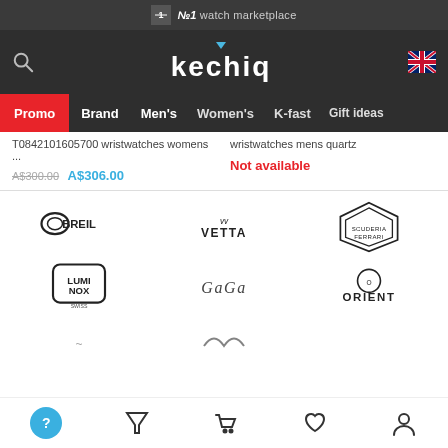№1 watch marketplace
kechiq
Promo  Brand  Men's  Women's  K-fast  Gift ideas
T0842101605700 wristwatches womens ...
A$300.00  A$306.00
wristwatches mens quartz
Not available
[Figure (logo): BREIL brand logo]
[Figure (logo): VETTA brand logo]
[Figure (logo): Scuderia Ferrari brand logo]
[Figure (logo): LUMINOX brand logo]
[Figure (logo): GaGa brand logo]
[Figure (logo): ORIENT brand logo]
[Figure (logo): Partially visible brand logo]
[Figure (logo): Partially visible brand logo]
Navigation icons: filter, cart, wishlist, account